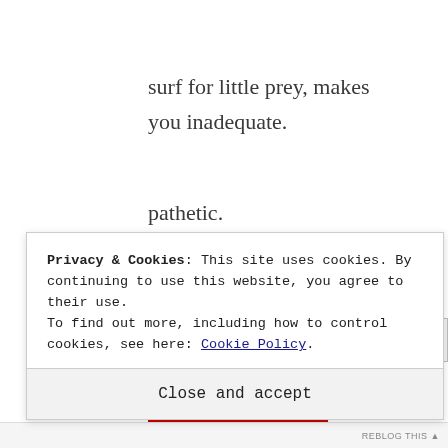surf for little prey, makes
you inadequate.
pathetic.
miserable.
small.
Privacy & Cookies: This site uses cookies. By continuing to use this website, you agree to their use.
To find out more, including how to control cookies, see here: Cookie Policy
Close and accept